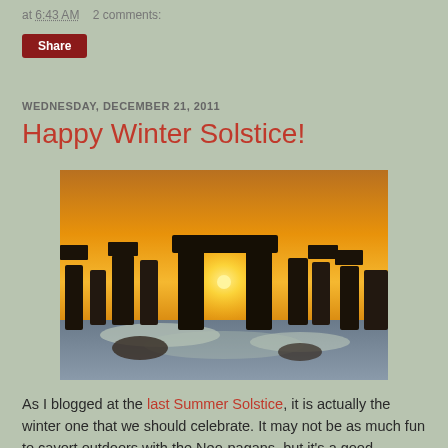at 6:43 AM   2 comments:
Share
WEDNESDAY, DECEMBER 21, 2011
Happy Winter Solstice!
[Figure (photo): Stonehenge at sunset/sunrise during winter solstice, silhouetted stones against a bright orange sky with sun visible through the central trilithon arch, snowy ground in foreground]
As I blogged at the last Summer Solstice, it is actually the winter one that we should celebrate. It may not be as much fun to cavort outdoors with the Neo-pagans, but it's a good